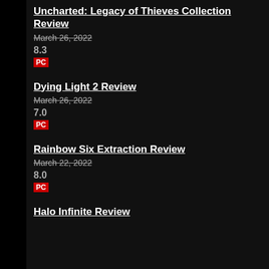Uncharted: Legacy of Thieves Collection Review
March 26, 2022
8.3
PC
Dying Light 2 Review
March 26, 2022
7.0
PC
Rainbow Six Extraction Review
March 22, 2022
8.0
PC
Halo Infinite Review